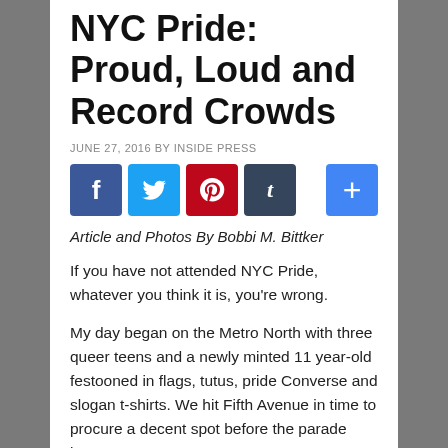NYC Pride: Proud, Loud and Record Crowds
JUNE 27, 2016 BY INSIDE PRESS
[Figure (other): Social media share buttons: Facebook, Twitter, Pinterest, Tumblr, and a plus/add button]
Article and Photos By Bobbi M. Bittker
If you have not attended NYC Pride, whatever you think it is, you’re wrong.
My day began on the Metro North with three queer teens and a newly minted 11 year-old festooned in flags, tutus, pride Converse and slogan t-shirts. We hit Fifth Avenue in time to procure a decent spot before the parade began.